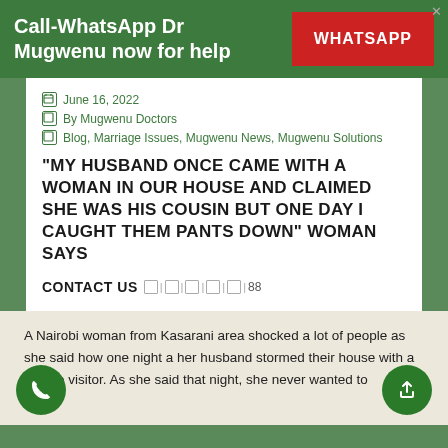Call-WhatsApp Dr Mugwenu now for help
June 16, 2022
By Mugwenu Doctors
Blog, Marriage Issues, Mugwenu News, Mugwenu Solutions
“MY HUSBAND ONCE CAME WITH A WOMAN IN OUR HOUSE AND CLAIMED SHE WAS HIS COUSIN BUT ONE DAY I CAUGHT THEM PANTS DOWN” WOMAN SAYS
CONTACT US
A Nairobi woman from Kasarani area shocked a lot of people as she said how one night a her husband stormed their house with a female visitor. As she said that night, she never wanted to